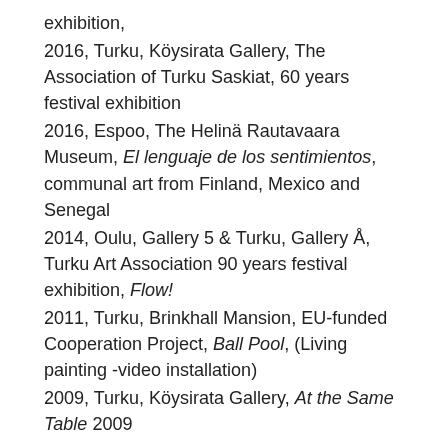exhibition,
2016, Turku, Köysirata Gallery, The Association of Turku Saskiat, 60 years festival exhibition
2016, Espoo, The Helinä Rautavaara Museum, El lenguaje de los sentimientos, communal art from Finland, Mexico and Senegal
2014, Oulu, Gallery 5 & Turku, Gallery Å, Turku Art Association 90 years festival exhibition, Flow!
2011, Turku, Brinkhall Mansion, EU-funded Cooperation Project, Ball Pool, (Living painting -video installation)
2009, Turku, Köysirata Gallery, At the Same Table 2009
Works in Collections
Viljo Hurme Foundation, Salo Art Museum
Roger Broo collection
Finnish Art Society (annual art lottery 2015)
University of Jyväskylä...